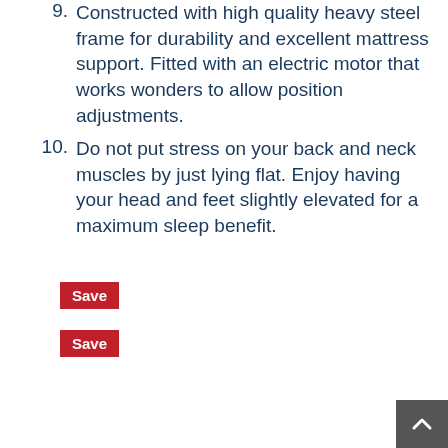9. Constructed with high quality heavy steel frame for durability and excellent mattress support. Fitted with an electric motor that works wonders to allow position adjustments.
10. Do not put stress on your back and neck muscles by just lying flat. Enjoy having your head and feet slightly elevated for a maximum sleep benefit.
Save
Save